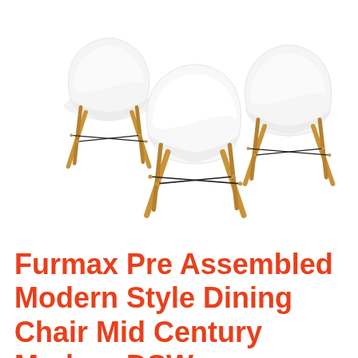[Figure (photo): Four white Eames-style DSW dining chairs with natural wooden dowel legs and black metal wire cross supports, arranged in a group against a white background.]
Furmax Pre Assembled Modern Style Dining Chair Mid Century Modern DSW